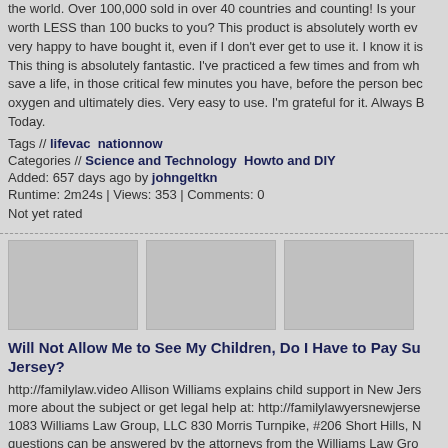the world. Over 100,000 sold in over 40 countries and counting! Is your worth LESS than 100 bucks to you? This product is absolutely worth ev very happy to have bought it, even if I don't ever get to use it. I know it is This thing is absolutely fantastic. I've practiced a few times and from wh save a life, in those critical few minutes you have, before the person bec oxygen and ultimately dies. Very easy to use. I'm grateful for it. Always B Today.
Tags // lifevac  nationnow
Categories // Science and Technology  Howto and DIY
Added: 657 days ago by johngeltkn
Runtime: 2m24s | Views: 353 | Comments: 0
Not yet rated
[Figure (screenshot): Three video thumbnails displayed side by side]
Will Not Allow Me to See My Children, Do I Have to Pay Su Jersey?
http://familylaw.video Allison Williams explains child support in New Jers more about the subject or get legal help at: http://familylawyersnewjerse 1083 Williams Law Group, LLC 830 Morris Turnpike, #206 Short Hills, N questions can be answered by the attorneys from the Williams Law Gro
Tags // child  support
Categories // Miscellaneous
Added: 725 days ago by johngeltkn
Runtime: 0m51s | Views: 302 | Comments: 0